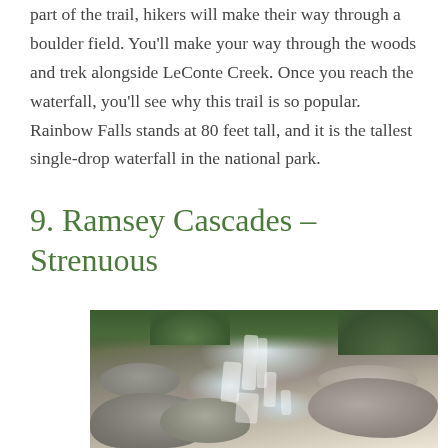part of the trail, hikers will make their way through a boulder field. You'll make your way through the woods and trek alongside LeConte Creek. Once you reach the waterfall, you'll see why this trail is so popular. Rainbow Falls stands at 80 feet tall, and it is the tallest single-drop waterfall in the national park.
9. Ramsey Cascades – Strenuous
[Figure (photo): A cascading waterfall flowing over rocky ledges surrounded by green foliage and trees, photographed in natural lighting. The waterfall appears to be Ramsey Cascades in a national park setting.]